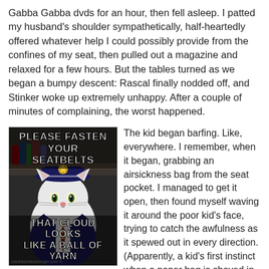Gabba Gabba dvds for an hour, then fell asleep. I patted my husband's shoulder sympathetically, half-heartedly offered whatever help I could possibly provide from the confines of my seat, then pulled out a magazine and relaxed for a few hours. But the tables turned as we began a bumpy descent: Rascal finally nodded off, and Stinker woke up extremely unhappy. After a couple of minutes of complaining, the worst happened.
[Figure (photo): Internet meme image of a cat dressed in a pilot/captain uniform with text 'PLEASE FASTEN YOUR SEATBELTS' at the top and 'THAT CLOUD LOOKS LIKE A BALL OF YARN' at the bottom.]
icanhascheezburger.com
The kid began barfing. Like, everywhere. I remember, when it began, grabbing an airsickness bag from the seat pocket. I managed to get it open, then found myself waving it around the poor kid’s face, trying to catch the awfulness as it spewed out in every direction. (Apparently, a kid’s first instinct when a paper bag is shoved in his face is to dodge, leading to a substantial widening of the disaster zone.) Before it was all over, he got both of us pretty well